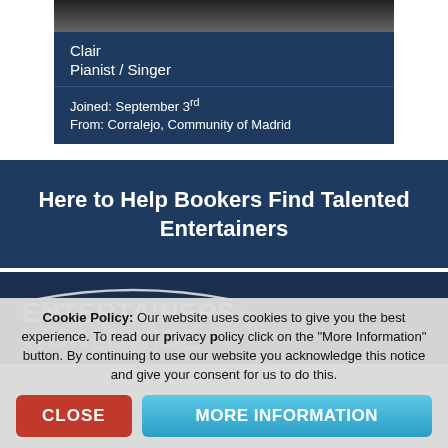Clair
Pianist / Singer
Joined: September 3rd
From: Corralejo, Community of Madrid
Here to Help Bookers Find Talented Entertainers
[Figure (logo): Entertainers Worldwide logo with arc above text and gold star]
Cookie Policy: Our website uses cookies to give you the best experience. To read our privacy policy click on the "More Information" button. By continuing to use our website you acknowledge this notice and give your consent for us to do this.
CLOSE
MORE INFORMATION